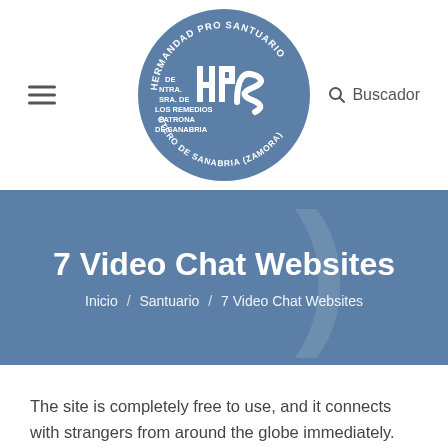[Figure (logo): Circular blue logo for Hermandad Pro Santuario de Ntra. Sra. de los Remedios Patrona de Sanabria, Otero de Sanabria (Zamora). Contains 'HPS' stylized letters in the center.]
Buscador
7 Video Chat Websites
Inicio / Santuario / 7 Video Chat Websites
The site is completely free to use, and it connects with strangers from around the globe immediately. Last however